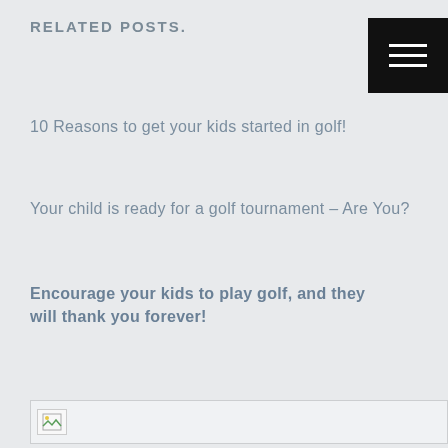RELATED POSTS.
[Figure (other): Black square menu/hamburger icon with three white horizontal lines]
10 Reasons to get your kids started in golf!
Your child is ready for a golf tournament – Are You?
Encourage your kids to play golf, and they will thank you forever!
[Figure (other): Broken image placeholder icon with thin border bar]